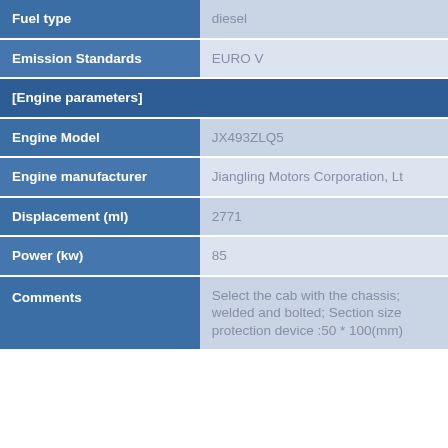| Field | Value |
| --- | --- |
| Fuel type | diesel |
| Emission Standards | EURO V |
| [Engine parameters] |  |
| Engine Model | JX493ZLQ5 |
| Engine manufacturer | Jiangling Motors Corporation, Lt |
| Displacement (ml) | 2771 |
| Power (kw) | 85 |
| Comments | Select the cab with the chassis; welded and bolted; Section size protection device :50 * 100(mm) |